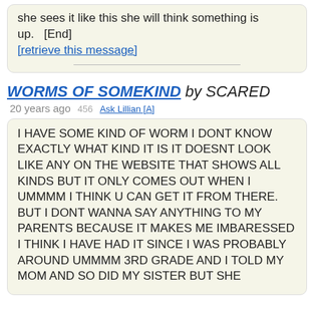she sees it like this she will think something is up.   [End]
[retrieve this message]
WORMS OF SOMEKIND by SCARED
20 years ago  456  Ask Lillian [A]
I HAVE SOME KIND OF WORM I DONT KNOW EXACTLY WHAT KIND IT IS IT DOESNT LOOK LIKE ANY ON THE WEBSITE THAT SHOWS ALL KINDS BUT IT ONLY COMES OUT WHEN I UMMMM I THINK U CAN GET IT FROM THERE. BUT I DONT WANNA SAY ANYTHING TO MY PARENTS BECAUSE IT MAKES ME IMBARESSED I THINK I HAVE HAD IT SINCE I WAS PROBABLY AROUND UMMMM 3RD GRADE AND I TOLD MY MOM AND SO DID MY SISTER BUT SHE